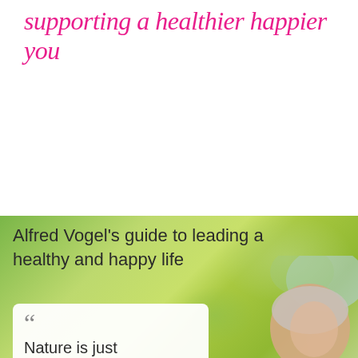supporting a healthier happier you
[Figure (photo): Green bokeh nature background with elderly person's head visible on right side]
Alfred Vogel's guide to leading a healthy and happy life
“Nature is just about the